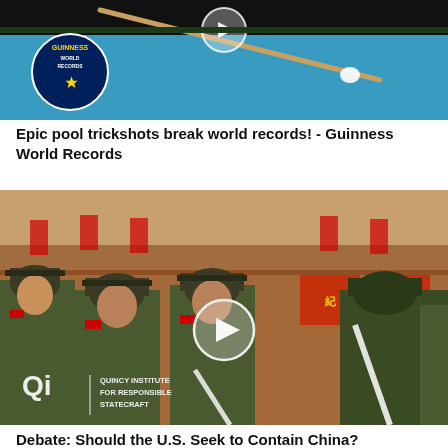[Figure (photo): Guinness World Records branded image showing a pool/billiards table with a blue felt surface and a play button icon overlay. The Guinness World Records logo is visible in the lower left.]
Epic pool trickshots break world records! - Guinness World Records
[Figure (photo): Video thumbnail showing Chinese military soldiers in green uniforms with red epaulettes and caps, standing in formation at what appears to be Tiananmen Square. A play button overlay is visible in the center. The Quincy Institute for Responsible Statecraft logo appears in the lower left.]
Debate: Should the U.S. Seek to Contain China?